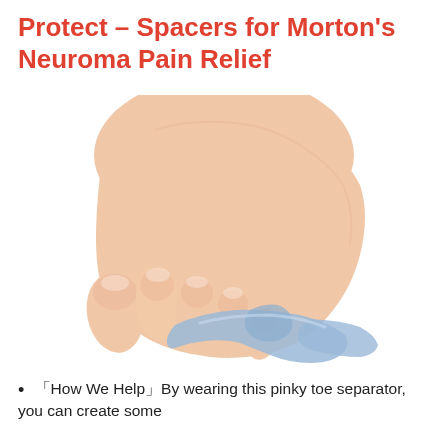Protect – Spacers for Morton's Neuroma Pain Relief
[Figure (photo): Close-up photo of a human foot showing toes with a blue silicone toe separator/spacer device fitted between the pinky toe and the adjacent toe.]
「How We Help」By wearing this pinky toe separator, you can create some